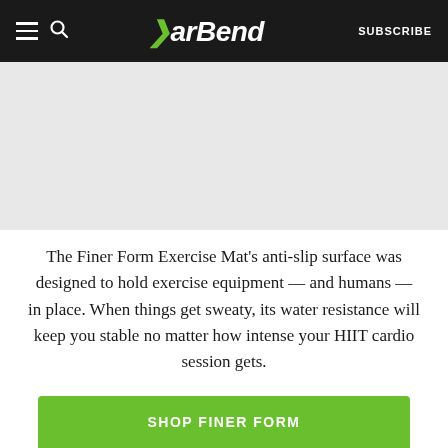BarBend  SUBSCRIBE
[Figure (photo): Gray placeholder image area for the Finer Form Exercise Mat product image]
The Finer Form Exercise Mat's anti-slip surface was designed to hold exercise equipment — and humans — in place. When things get sweaty, its water resistance will keep you stable no matter how intense your HIIT cardio session gets.
SHOP FINER FORM